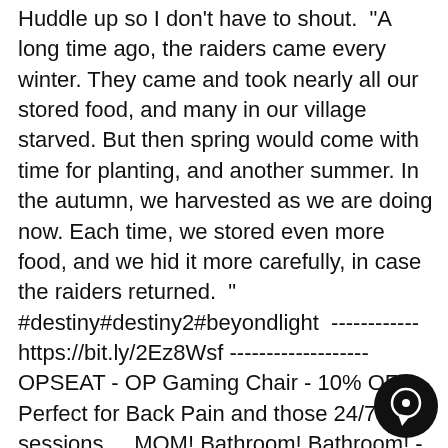Huddle up so I don't have to shout.  "A long time ago, the raiders came every winter. They came and took nearly all our stored food, and many in our village starved. But then spring would come with time for planting, and another summer. In the autumn, we harvested as we are doing now. Each time, we stored even more food, and we hid it more carefully, in case the raiders returned.  " #destiny#destiny2#beyondlight  ------------ https://bit.ly/2Ez8Wsf ------------------- OPSEAT - OP Gaming Chair - 10% OFF Perfect for Back Pain and those 24/7 play sessions.....MOM! Bathroom! Bathroom! - Someone for the Love of God understand the reference.... https://opseat.com/ref/OPGAMING
[Figure (illustration): Black circular chat bubble icon in the bottom right corner]